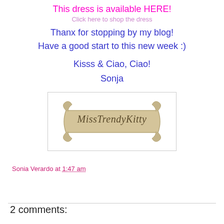This dress is available HERE!
Thanx for stopping by my blog!
Have a good start to this new week :)
Kisss & Ciao, Ciao!
Sonja
[Figure (logo): Miss Trendy Kitty logo — a scroll/banner with cursive text reading 'Miss Trendy Kitty']
Sonia Verardo at 1:47 am
Share
2 comments: